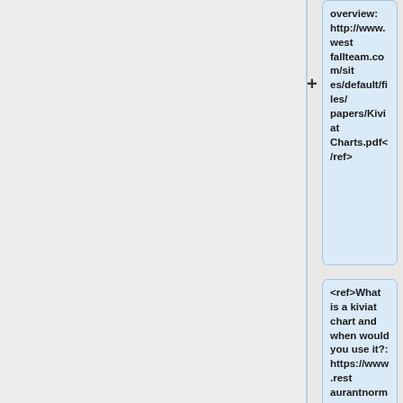overview: http://www.westfallteam.com/sites/default/files/papers/Kiviat Charts.pdf</ref>
<ref>What is a kiviat chart and when would you use it?: https://www.restaurantnorman.com/what-is-a-kiviat-chart-and-when-would-you-use-it/</ref>
<ref>How to create a Kiviat Chart in Microsoft Excel: http...